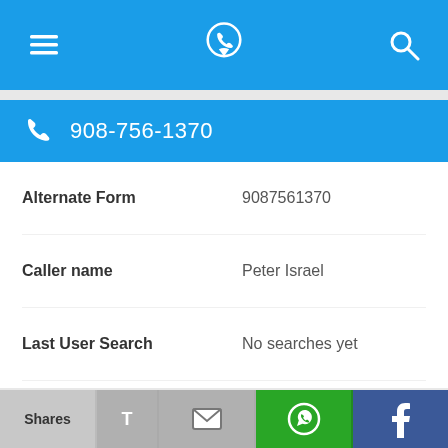[Figure (screenshot): Top navigation bar with menu (hamburger) icon on left, phone locator logo in center, and search icon on right, all on blue background]
908-756-1370
| Alternate Form | 9087561370 |
| Caller name | Peter Israel |
| Last User Search | No searches yet |
| Comments | 0 |
908-756-1595
[Figure (screenshot): Bottom share bar with Shares, Twitter (T), Email (envelope), WhatsApp, and Facebook buttons]